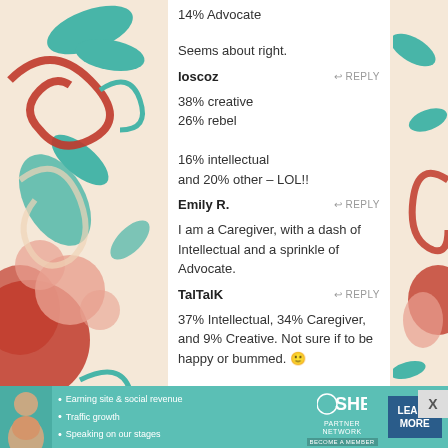14% Advocate

Seems about right.
loscoz — REPLY
38% creative
26% rebel

16% intellectual
and 20% other – LOL!!
Emily R. — REPLY
I am a Caregiver, with a dash of Intellectual and a sprinkle of Advocate.
TalTalK — REPLY
37% Intellectual, 34% Caregiver, and 9% Creative. Not sure if to be happy or bummed. 🙂
[Figure (illustration): Decorative floral scroll pattern with red, teal, and cream colors on left and right sides of the page]
[Figure (infographic): SHE Partner Network advertisement banner with photo, bullet points about earning site & social revenue, traffic growth, speaking on stages, SHE logo, and LEARN MORE button]